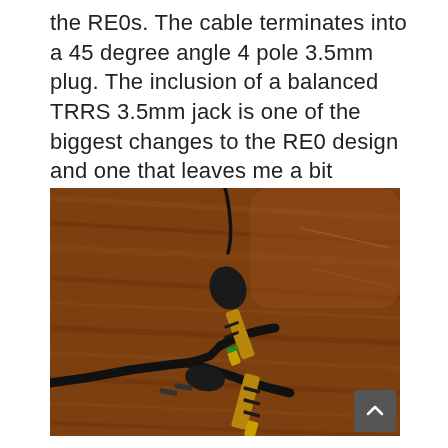the RE0s. The cable terminates into a 45 degree angle 4 pole 3.5mm plug. The inclusion of a balanced TRRS 3.5mm jack is one of the biggest changes to the RE0 design and one that leaves me a bit confused.
[Figure (photo): Photo of two 3.5mm audio plugs (TRRS) connected to a splitter cable, lying on a wooden surface. The plugs are black with gold-colored metal tips and visible separation rings.]